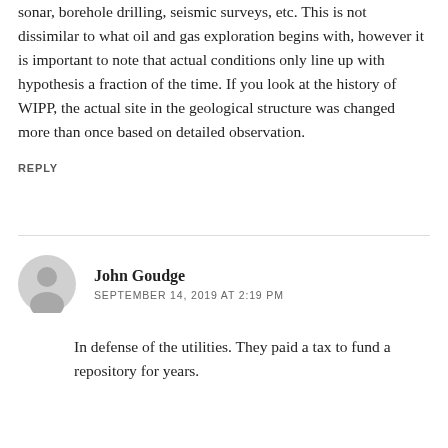sonar, borehole drilling, seismic surveys, etc. This is not dissimilar to what oil and gas exploration begins with, however it is important to note that actual conditions only line up with hypothesis a fraction of the time. If you look at the history of WIPP, the actual site in the geological structure was changed more than once based on detailed observation.
REPLY
John Goudge
SEPTEMBER 14, 2019 AT 2:19 PM
In defense of the utilities. They paid a tax to fund a repository for years.